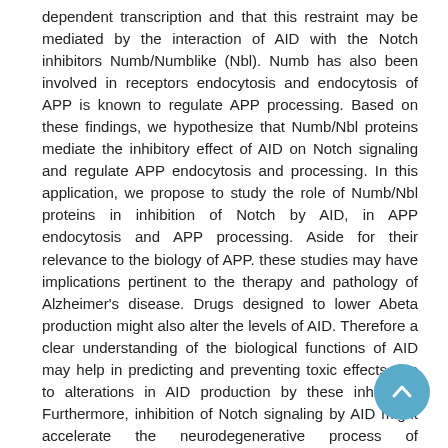dependent transcription and that this restraint may be mediated by the interaction of AID with the Notch inhibitors Numb/Numblike (Nbl). Numb has also been involved in receptors endocytosis and endocytosis of APP is known to regulate APP processing. Based on these findings, we hypothesize that Numb/Nbl proteins mediate the inhibitory effect of AID on Notch signaling and regulate APP endocytosis and processing. In this application, we propose to study the role of Numb/Nbl proteins in inhibition of Notch by AID, in APP endocytosis and APP processing. Aside for their relevance to the biology of APP. these studies may have implications pertinent to the therapy and pathology of Alzheimer's disease. Drugs designed to lower Abeta production might also alter the levels of AID. Therefore a clear understanding of the biological functions of AID may help in predicting and preventing toxic effects due to alterations in AID production by these inhibitors. Furthermore, inhibition of Notch signaling by AID might accelerate the neurodegenerative process of Alzheimer's disease by enhancing synapse loss, neurite dystrophy and neuronal degeneration. Lastly, regulation of APP endocytosis and processing by Numb/Nbl proteins might provide potential new targets for compounds aimed to reduce Abeta production.